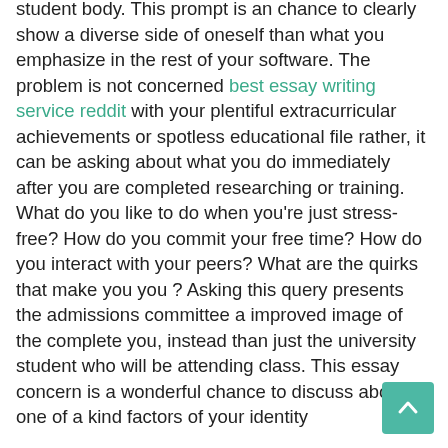student body. This prompt is an chance to clearly show a diverse side of oneself than what you emphasize in the rest of your software. The problem is not concerned best essay writing service reddit with your plentiful extracurricular achievements or spotless educational file rather, it can be asking about what you do immediately after you are completed researching or training. What do you like to do when you're just stress-free? How do you commit your free time? How do you interact with your peers? What are the quirks that make you you ? Asking this query presents the admissions committee a improved image of the complete you, instead than just the university student who will be attending class. This essay concern is a wonderful chance to discuss about one of a kind factors of your identity